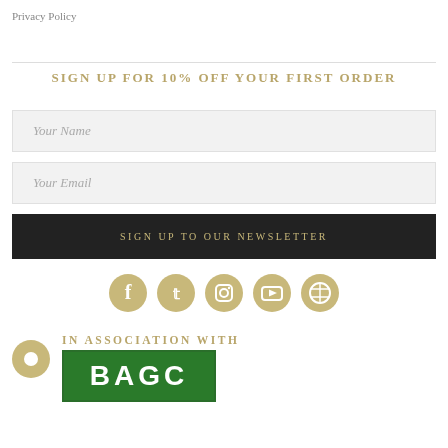Privacy Policy
SIGN UP FOR 10% OFF YOUR FIRST ORDER
[Figure (other): Newsletter signup form with Your Name input, Your Email input, and Sign Up To Our Newsletter button]
[Figure (other): Social media icons row: Facebook, Twitter, Instagram, YouTube, WordPress]
IN ASSOCIATION WITH
[Figure (logo): Green BAGC or similar association logo box]